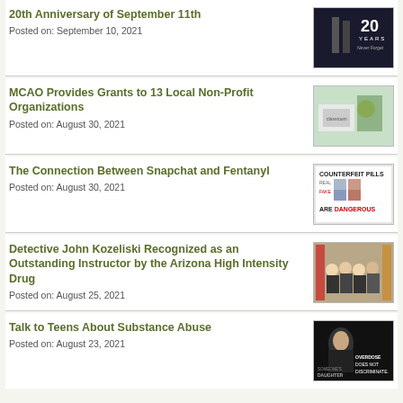20th Anniversary of September 11th
Posted on: September 10, 2021
[Figure (photo): Black and white photo of NYC skyline with '20 YEARS Never Forget' text overlay]
MCAO Provides Grants to 13 Local Non-Profit Organizations
Posted on: August 30, 2021
[Figure (photo): Photo of children in a classroom setting]
The Connection Between Snapchat and Fentanyl
Posted on: August 30, 2021
[Figure (photo): Counterfeit Pills infographic showing Real vs Fake pills with text 'ARE DANGEROUS']
Detective John Kozeliski Recognized as an Outstanding Instructor by the Arizona High Intensity Drug
Posted on: August 25, 2021
[Figure (photo): Group photo of people standing in front of flags]
Talk to Teens About Substance Abuse
Posted on: August 23, 2021
[Figure (photo): Dark photo of a young woman with text 'OVERDOSE DOES NOT DISCRIMINATE. SOMEONE'S DAUGHTER']